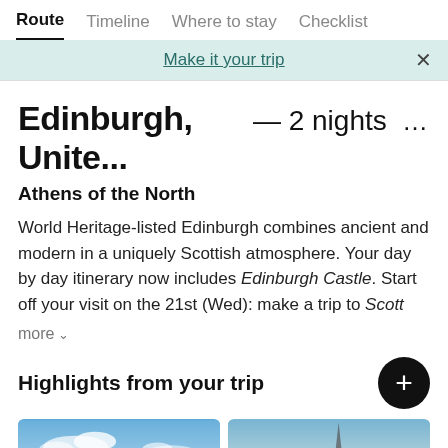Route | Timeline | Where to stay | Checklist
Make it your trip
Edinburgh, Unite... — 2 nights ...
Athens of the North
World Heritage-listed Edinburgh combines ancient and modern in a uniquely Scottish atmosphere. Your day by day itinerary now includes Edinburgh Castle. Start off your visit on the 21st (Wed): make a trip to Scott
more
Highlights from your trip
[Figure (photo): Two travel photos: blue sky with clouds on left, tower/spire with trees on right]